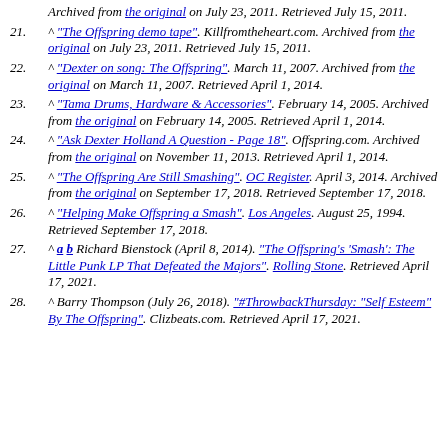Archived from the original on July 23, 2011. Retrieved July 15, 2011.
21. ^ "The Offspring demo tape". Killfromtheheart.com. Archived from the original on July 23, 2011. Retrieved July 15, 2011.
22. ^ "Dexter on song: The Offspring". March 11, 2007. Archived from the original on March 11, 2007. Retrieved April 1, 2014.
23. ^ "Tama Drums, Hardware & Accessories". February 14, 2005. Archived from the original on February 14, 2005. Retrieved April 1, 2014.
24. ^ "Ask Dexter Holland A Question - Page 18". Offspring.com. Archived from the original on November 11, 2013. Retrieved April 1, 2014.
25. ^ "The Offspring Are Still Smashing". OC Register. April 3, 2014. Archived from the original on September 17, 2018. Retrieved September 17, 2018.
26. ^ "Helping Make Offspring a Smash". Los Angeles. August 25, 1994. Retrieved September 17, 2018.
27. ^ a b Richard Bienstock (April 8, 2014). "The Offspring's 'Smash': The Little Punk LP That Defeated the Majors". Rolling Stone. Retrieved April 17, 2021.
28. ^ Barry Thompson (July 26, 2018). "#ThrowbackThursday: "Self Esteem" By The Offspring". Clizbeats.com. Retrieved April 17, 2021.